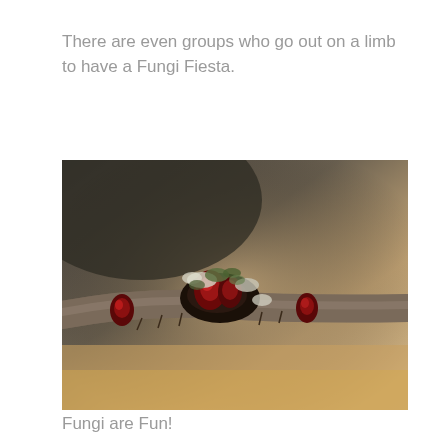There are even groups who go out on a limb to have a Fungi Fiesta.
[Figure (photo): Close-up macro photograph of fungi growing on a branch. The branch runs diagonally across the frame with dark reddish-brown fungal growths, small green lichen patches, and white patches visible on the branch surface. The background is blurred with warm beige and dark grey tones.]
Fungi are Fun!